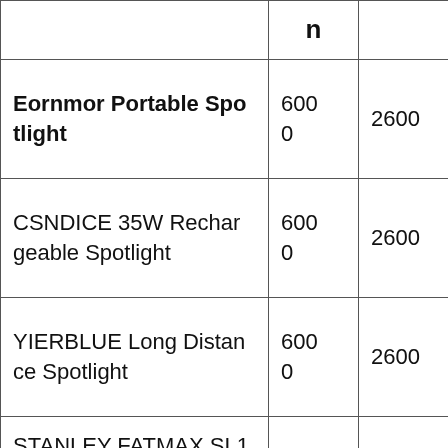|  | n |  |
| --- | --- | --- |
| Eornmor Portable Spotlight | 600
0 | 2600 |
| CSNDICE 35W Rechargeable Spotlight | 600
0 | 2600 |
| YIERBLUE Long Distance Spotlight | 600
0 | 2600 |
| STANLEY FATMAX SL10LEDS Rechargeable Spotlight | 220
0 | 1000 |